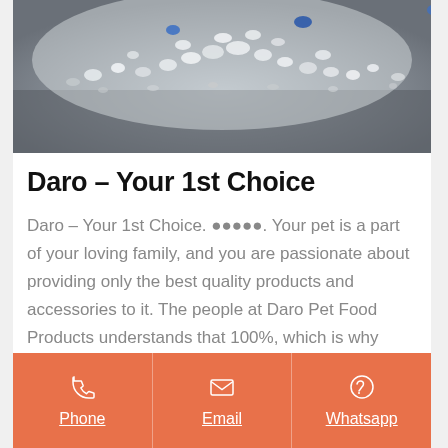[Figure (photo): Close-up photo of white and blue crystal silica cat litter granules piled on a grey surface]
Daro – Your 1st Choice
Daro – Your 1st Choice. •••••. Your pet is a part of your loving family, and you are passionate about providing only the best quality products and accessories to it. The people at Daro Pet Food Products understands that 100%, which is why anything
Phone | Email | Whatsapp